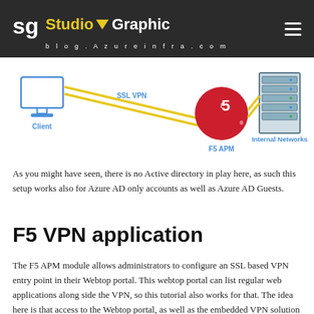Studio Graphic — blog.Azureinfra.com
[Figure (infographic): Network diagram showing Client connected via SSL VPN to F5 APM, which connects to Internal Networks. Client is shown as a monitor icon on the left, F5 APM shown with the t5 red circle logo in the center, Internal Networks shown as server rack on the right. A yellow diagonal line represents the SSL VPN connection.]
As you might have seen, there is no Active directory in play here, as such this setup works also for Azure AD only accounts as well as Azure AD Guests.
F5 VPN application
The F5 APM module allows administrators to configure an SSL based VPN entry point in their Webtop portal. This webtop portal can list regular web applications along side the VPN, so this tutorial also works for that. The idea here is that access to the Webtop portal, as well as the embedded VPN solution in there is based on a trusted